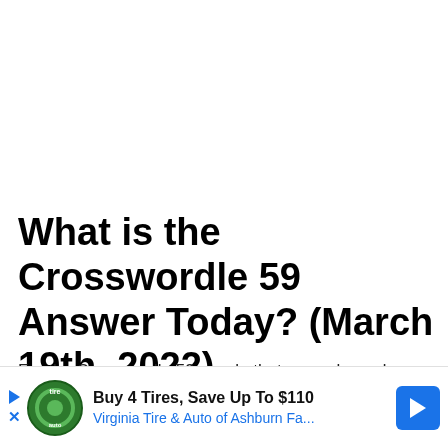What is the Crosswordle 59 Answer Today? (March 19th, 2022)
For the Crosswordle 59 puzzle that was released today on March 19th, 2022 the grid is longer than usual as there are five wo... n't the first ti... that
[Figure (other): Advertisement banner: Buy 4 Tires, Save Up To $110 — Virginia Tire & Auto of Ashburn Fa... with a tire shop logo and navigation icon]